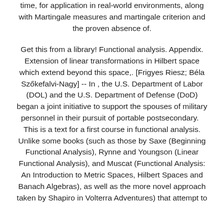time, for application in real-world environments, along with Martingale measures and martingale criterion and the proven absence of.
Get this from a library! Functional analysis. Appendix. Extension of linear transformations in Hilbert space which extend beyond this space,. [Frigyes Riesz; Béla Szőkefalvi-Nagy] -- In , the U.S. Department of Labor (DOL) and the U.S. Department of Defense (DoD) began a joint initiative to support the spouses of military personnel in their pursuit of portable postsecondary.   This is a text for a first course in functional analysis. Unlike some books (such as those by Saxe (Beginning Functional Analysis), Rynne and Youngson (Linear Functional Analysis), and Muscat (Functional Analysis: An Introduction to Metric Spaces, Hilbert Spaces and Banach Algebras), as well as the more novel approach taken by Shapiro in Volterra Adventures) that attempt to